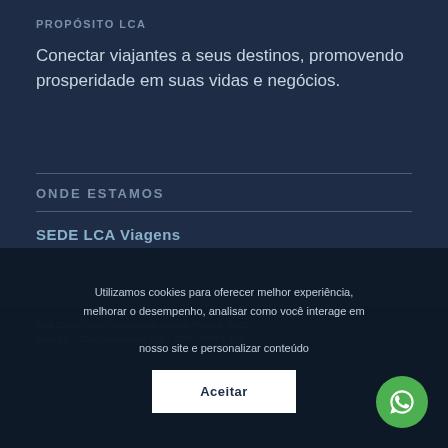PROPÓSITO LCA
Conectar viajantes a seus destinos, promovendo prosperidade em suas vidas e negócios.
ONDE ESTAMOS
SEDE LCA Viagens
Rua Engenheiro Armando de Arruda Pereira, 1105 Sala 01 – São Caetano do Sul – CEP: 09561-170
Utilizamos cookies para oferecer melhor experiência, melhorar o desempenho, analisar como você interage em nosso site e personalizar conteúdo
Aceitar